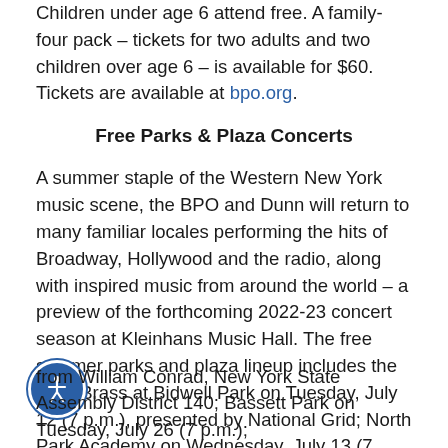Children under age 6 attend free. A family-four pack – tickets for two adults and two children over age 6 – is available for $60. Tickets are available at bpo.org.
Free Parks & Plaza Concerts
A summer staple of the Western New York music scene, the BPO and Dunn will return to many familiar locales performing the hits of Broadway, Hollywood and the radio, along with inspired music from around the world – a preview of the forthcoming 2022-23 concert season at Kleinhans Music Hall. The free summer parks and plaza lineup includes the BPO Brass at Bidwell Park on Tuesday, July 12 (7 p.m.), presented by National Grid; North Park Academy on Wednesday, July 13 (7 p.m.), presented with support from Buffalo Common Council Member Joel P. Feroleto; the Niawanda Park bandshell on Sunday, July 17 (7 p.m.), presented with support from William Conrad, New York State Assembly District 140; Bassett Park on Tuesday, July 26 (7 p.m.);